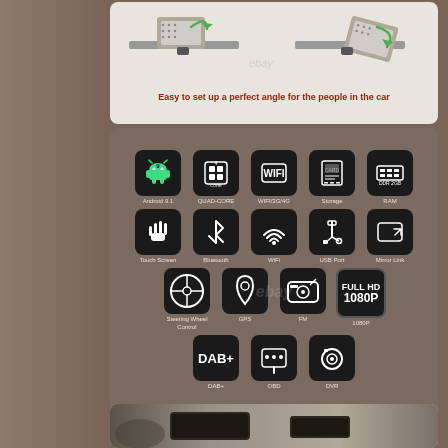[Figure (photo): Two images showing a car headrest monitor being adjusted to different angles, with green rotation arrows indicating adjustability.]
Easy to set up a perfect angle for the people in the car
[Figure (infographic): Feature icons grid showing: Android 9.1, QUAD-CORE, WIFI/3G/4G, Storage, RAM, Touch Screen, Bluetooth, WiFi, USB Port, Mirror Link, Steering Wheel Control, GPS, FM, 1080P, DAB+, OBD, DVR]
[Figure (photo): Interior view of a car dashboard with a large touchscreen head unit installed.]